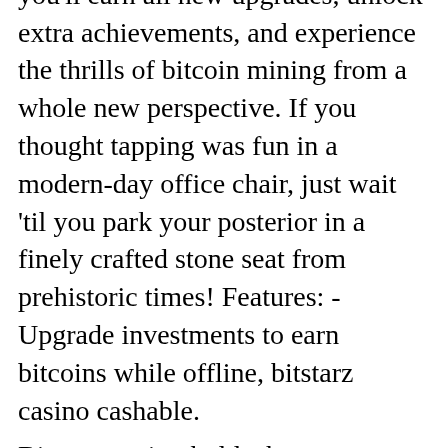and space. Travel to new eras where you'll earn all new upgrades, unlock extra achievements, and experience the thrills of bitcoin mining from a whole new perspective. If you thought tapping was fun in a modern-day office chair, just wait 'til you park your posterior in a finely crafted stone seat from prehistoric times! Features: -Upgrade investments to earn bitcoins while offline, bitstarz casino cashable.
Bitstarz casino holds the curacao license, which is commonly believed less reputable than the malta one. We advise you to wander from these stereotypes and. Bitstarz has a license from dama n. , so the gaming service is valued among many other gambling clubs. Although at this time in new zealand. We review bitstarz casino, covering their range of bonuses and promotion, their licensing, customer service, banking solutions, and games. Bitstarz - casino review. Detailed bitstarz casino review.